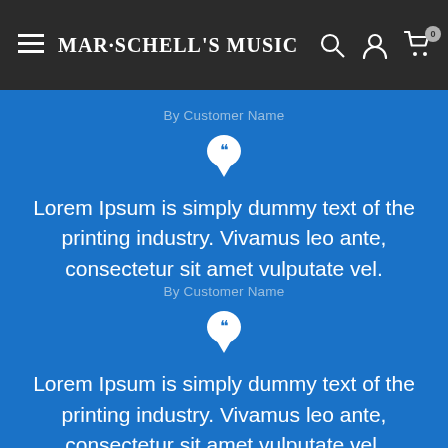Mar·Schell's Music
By Customer Name
Lorem Ipsum is simply dummy text of the printing industry. Vivamus leo ante, consectetur sit amet vulputate vel.
By Customer Name
Lorem Ipsum is simply dummy text of the printing industry. Vivamus leo ante, consectetur sit amet vulputate vel.